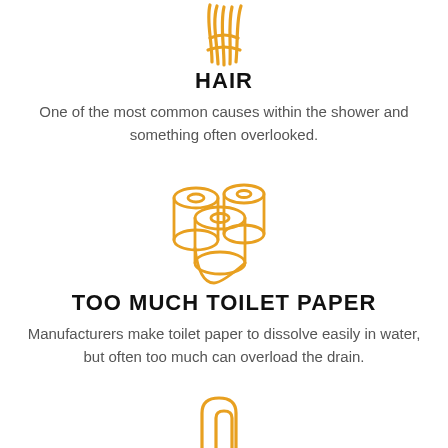[Figure (illustration): Orange icon of hair/hand with flowing lines at the top of the page]
HAIR
One of the most common causes within the shower and something often overlooked.
[Figure (illustration): Orange icon of toilet paper rolls (three rolls grouped together)]
TOO MUCH TOILET PAPER
Manufacturers make toilet paper to dissolve easily in water, but often too much can overload the drain.
[Figure (illustration): Orange icon of pipes/drain at the bottom of the page]